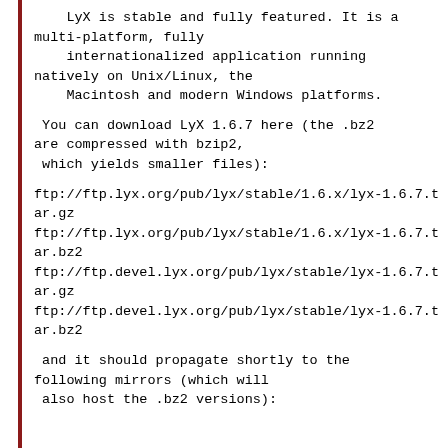LyX is stable and fully featured. It is a
multi-platform, fully
    internationalized application running
natively on Unix/Linux, the
    Macintosh and modern Windows platforms.
You can download LyX 1.6.7 here (the .bz2
are compressed with bzip2,
 which yields smaller files):
ftp://ftp.lyx.org/pub/lyx/stable/1.6.x/lyx-1.6.7.tar.gz
ftp://ftp.lyx.org/pub/lyx/stable/1.6.x/lyx-1.6.7.tar.bz2
ftp://ftp.devel.lyx.org/pub/lyx/stable/lyx-1.6.7.tar.gz
ftp://ftp.devel.lyx.org/pub/lyx/stable/lyx-1.6.7.tar.bz2
and it should propagate shortly to the
following mirrors (which will
 also host the .bz2 versions):